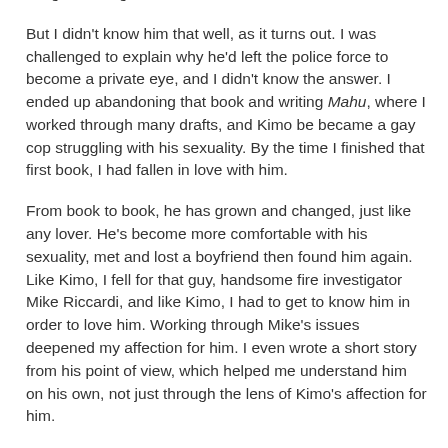intrigued as I got to know him.
But I didn't know him that well, as it turns out. I was challenged to explain why he'd left the police force to become a private eye, and I didn't know the answer. I ended up abandoning that book and writing Mahu, where I worked through many drafts, and Kimo be became a gay cop struggling with his sexuality. By the time I finished that first book, I had fallen in love with him.
From book to book, he has grown and changed, just like any lover. He's become more comfortable with his sexuality, met and lost a boyfriend then found him again. Like Kimo, I fell for that guy, handsome fire investigator Mike Riccardi, and like Kimo, I had to get to know him in order to love him. Working through Mike's issues deepened my affection for him. I even wrote a short story from his point of view, which helped me understand him on his own, not just through the lens of Kimo's affection for him.
It was a different story with the heroes of my Have Body, Will Guard series. The first book, Three Wrong Turns in the